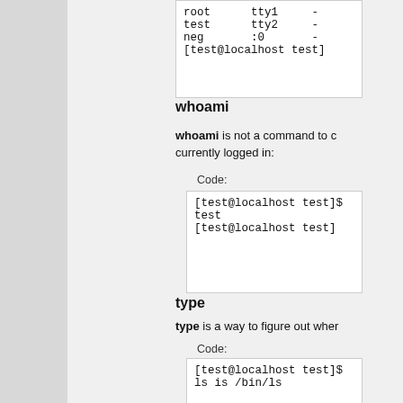[Figure (screenshot): Code box showing terminal output: root tty1 -, test tty2 -, neg :0 -, [test@localhost test]]
whoami
whoami is not a command to check who is currently logged in:
Code:
[Figure (screenshot): Code box: [test@localhost test]$ whoami, test, [test@localhost test]$]
type
type is a way to figure out wher
Code:
[Figure (screenshot): Code box: [test@localhost test]$ type ls, ls is /bin/ls, [test@localhost test]$]
More likely, you'll get something
Code: